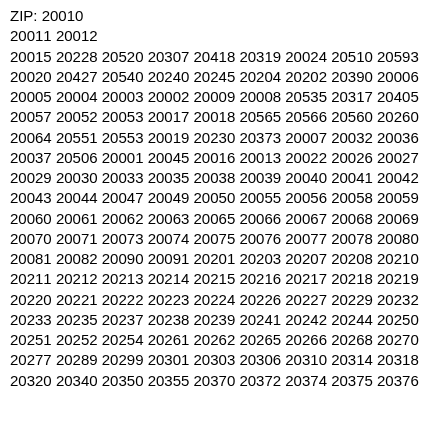ZIP: 20010
20011 20012
20015 20228 20520 20307 20418 20319 20024 20510 20593
20020 20427 20540 20240 20245 20204 20202 20390 20006
20005 20004 20003 20002 20009 20008 20535 20317 20405
20057 20052 20053 20017 20018 20565 20566 20560 20260
20064 20551 20553 20019 20230 20373 20007 20032 20036
20037 20506 20001 20045 20016 20013 20022 20026 20027
20029 20030 20033 20035 20038 20039 20040 20041 20042
20043 20044 20047 20049 20050 20055 20056 20058 20059
20060 20061 20062 20063 20065 20066 20067 20068 20069
20070 20071 20073 20074 20075 20076 20077 20078 20080
20081 20082 20090 20091 20201 20203 20207 20208 20210
20211 20212 20213 20214 20215 20216 20217 20218 20219
20220 20221 20222 20223 20224 20226 20227 20229 20232
20233 20235 20237 20238 20239 20241 20242 20244 20250
20251 20252 20254 20261 20262 20265 20266 20268 20270
20277 20289 20299 20301 20303 20306 20310 20314 20318
20320 20340 20350 20355 20370 20372 20374 20375 20376